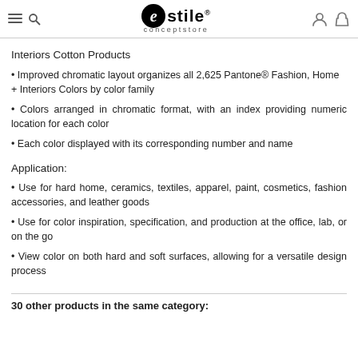Estile conceptstore
Interiors Cotton Products
Improved chromatic layout organizes all 2,625 Pantone® Fashion, Home + Interiors Colors by color family
Colors arranged in chromatic format, with an index providing numeric location for each color
Each color displayed with its corresponding number and name
Application:
Use for hard home, ceramics, textiles, apparel, paint, cosmetics, fashion accessories, and leather goods
Use for color inspiration, specification, and production at the office, lab, or on the go
View color on both hard and soft surfaces, allowing for a versatile design process
30 other products in the same category: